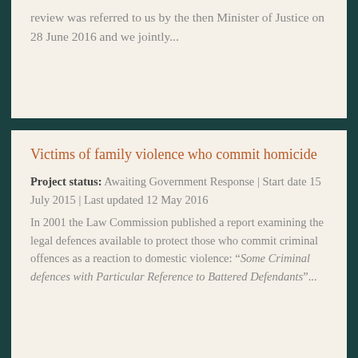review was referred to us by the then Minister of Justice on 28 June 2016 and we jointly...
Victims of family violence who commit homicide
Project status: Awaiting Government Response | Start date 15 July 2015 | Last updated 12 May 2016
In 2001 the Law Commission published a report examining the legal defences available to protect those who commit criminal offences as a reaction to domestic violence: “Some Criminal defences with Particular Reference to Battered Defendants”...